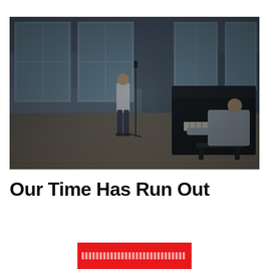[Figure (photo): Two men in a large room with tall windows. One man stands near a microphone stand wearing a white t-shirt and dark pants. The other man sits at a dark upright piano wearing a grey long-sleeve shirt. The room has wooden floors and blue-grey walls. The image has a dark, moody tone.]
Our Time Has Run Out
[Figure (other): Red button/banner with small white dot/dash pattern text that is illegible]